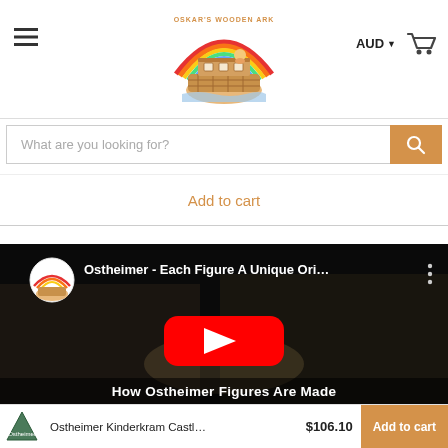[Figure (logo): Oskar's Wooden Ark logo — Noah's ark with rainbow, colourful illustration]
AUD
[Figure (other): Shopping cart icon]
[Figure (other): Hamburger menu icon (three horizontal lines)]
[Figure (other): Search bar with placeholder text 'What are you looking for?' and orange search button]
Add to cart
[Figure (screenshot): YouTube video thumbnail: 'Ostheimer - Each Figure A Unique Ori...' showing hands crafting a wooden figure, with red YouTube play button overlay and subtitle 'How Ostheimer Figures Are Made']
Ostheimer Kinderkram Castl...  $106.10  Add to cart